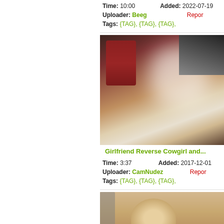Time: 10:00   Added: 2022-07-19
Uploader: Beeg   Report
Tags: {TAG}, {TAG}, {TAG},
[Figure (photo): Blurred adult content thumbnail - woman in red bra, motion blur]
Girlfriend Reverse Cowgirl and...
Time: 3:37   Added: 2017-12-01
Uploader: CamNudez   Report
Tags: {TAG}, {TAG}, {TAG},
[Figure (photo): Blurred adult content thumbnail - blonde woman, partially obscured]